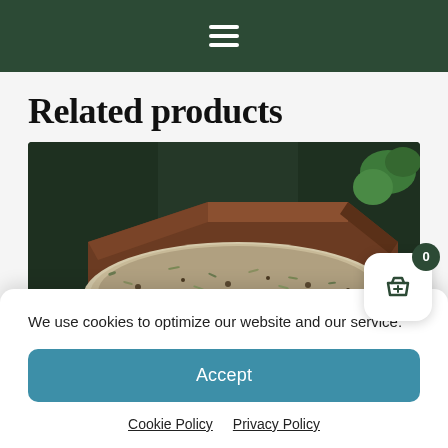Navigation menu (hamburger icon)
Related products
[Figure (photo): A bowl of mixed herbal tea or spices viewed from above, with a wooden tray/box in the background and green plants visible]
We use cookies to optimize our website and our service.
Accept
Cookie Policy   Privacy Policy